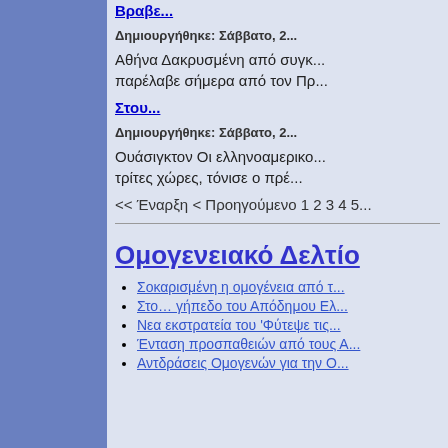Βραβε...
Δημιουργήθηκε: Σάββατο, 2...
Αθήνα Δακρυσμένη από συγκ... παρέλαβε σήμερα από τον Πρ...
Στου...
Δημιουργήθηκε: Σάββατο, 2...
Ουάσιγκτον Οι ελληνοαμερικο... τρίτες χώρες, τόνισε ο πρέ...
<< Έναρξη < Προηγούμενο 1 2 3 4 5...
Ομογενειακό Δελτίο
Σοκαρισμένη η ομογένεια από τ...
Στο… γήπεδο του Απόδημου Ελ...
Νεα εκστρατεία του 'Φύτεψε τις...
Ένταση προσπαθειών από τους Α...
Αντδράσεις Ομογενών για την Ο...